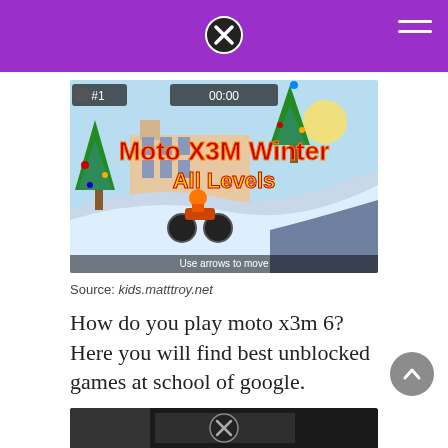[Figure (screenshot): Moto X3M Winter All Levels game screenshot showing a motorcycle rider on a snowy hill with Christmas trees and buildings in the background. Text reads 'Moto X3M Winter All Levels' in red and yellow. HUD shows #1 and 00:00 timer. Bottom text: Use arrows to move.]
Source: kids.matttroy.net
How do you play moto x3m 6? Here you will find best unblocked games at school of google.
[Figure (screenshot): Partial bottom screenshot showing another game image with a close button and controls.]